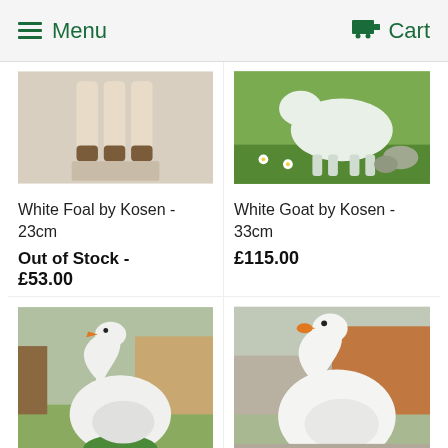Menu  Cart
[Figure (photo): White foal stuffed animal legs, light beige with brown hooves]
White Foal by Kosen - 23cm
Out of Stock - £53.00
[Figure (photo): White goat stuffed animal standing in grass with daisies]
White Goat by Kosen - 33cm
£115.00
[Figure (photo): White goose stuffed animal with orange beak, sitting on green moss outdoors]
White Goose by Kosen - 19cm
£63.00
[Figure (photo): White goose stuffed animal with orange beak, sitting outdoors on gravel]
White Goose by Kosen - 37cm
£149.00